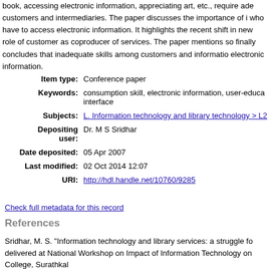book, accessing electronic information, appreciating art, etc., require ade customers and intermediaries. The paper discusses the importance of i who have to access electronic information. It highlights the recent shift in new role of customer as coproducer of services. The paper mentions so finally concludes that inadequate skills among customers and informatio electronic information.
| Field | Value |
| --- | --- |
| Item type: | Conference paper |
| Keywords: | consumption skill, electronic information, user-educa interface |
| Subjects: | L. Information technology and library technology > L2 |
| Depositing user: | Dr. M S Sridhar |
| Date deposited: | 05 Apr 2007 |
| Last modified: | 02 Oct 2014 12:07 |
| URI: | http://hdl.handle.net/10760/9285 |
Check full metadata for this record
References
Sridhar, M. S. "Information technology and library services: a struggle fo delivered at National Workshop on Impact of Information Technology on College, Surathkal
Sridhar, M. S. "Modernising library services using IT: potentials and prob Automated Libraries : Challenges and Opportunities, December 4-5, 199